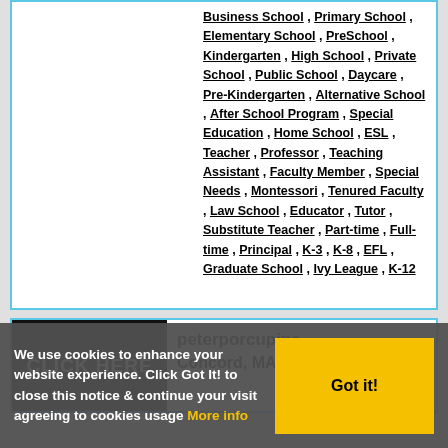Business School , Primary School , Elementary School , PreSchool , Kindergarten , High School , Private School , Public School , Daycare , Pre-Kindergarten , Alternative School , After School Program , Special Education , Home School , ESL , Teacher , Professor , Teaching Assistant , Faculty Member , Special Needs , Montessori , Tenured Faculty , Law School , Educator , Tutor , Substitute Teacher , Part-time , Full-time , Principal , K-3 , K-8 , EFL , Graduate School , Ivy League , K-12
[Figure (screenshot): Black banner image with white bold text reading CLICK HERE]
peterporcupine
Concord, MA, USA
We use cookies to enhance your website experience. Click Got It! to close this notice & continue your visit agreeing to cookies usage More info